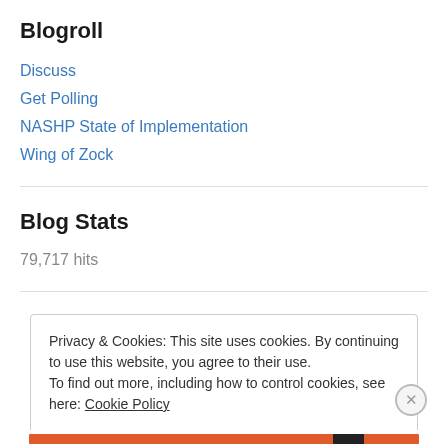Blogroll
Discuss
Get Polling
NASHP State of Implementation
Wing of Zock
Blog Stats
79,717 hits
Privacy & Cookies: This site uses cookies. By continuing to use this website, you agree to their use. To find out more, including how to control cookies, see here: Cookie Policy Close and accept